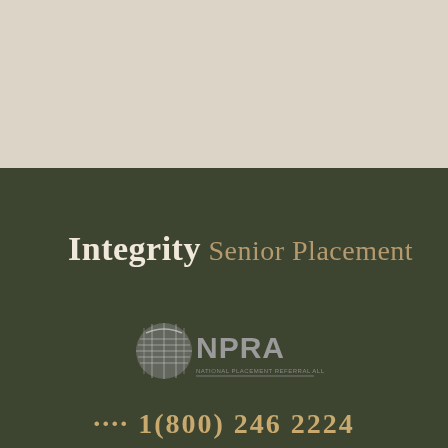[Figure (illustration): Top beige/tan background section occupying the upper portion of the page]
[Figure (logo): Integrity Senior Placement logo in white and gold text on dark olive green background]
[Figure (logo): NPRA logo with circular checkered graphic and text on dark olive green background]
IntegritySenior Placement
NPRA
...1(800) 246 2224